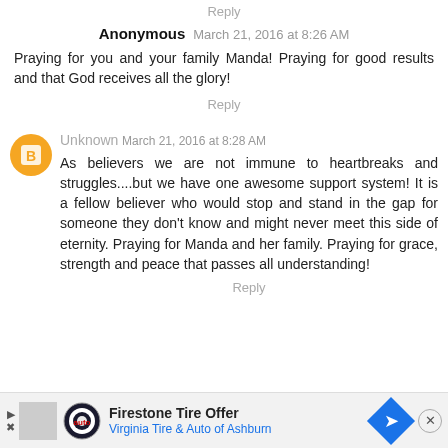Reply
Anonymous March 21, 2016 at 8:26 AM
Praying for you and your family Manda! Praying for good results and that God receives all the glory!
Reply
Unknown March 21, 2016 at 8:28 AM
As believers we are not immune to heartbreaks and struggles....but we have one awesome support system! It is a fellow believer who would stop and stand in the gap for someone they don't know and might never meet this side of eternity. Praying for Manda and her family. Praying for grace, strength and peace that passes all understanding!
Reply
[Figure (infographic): Firestone Tire Offer advertisement banner - Virginia Tire & Auto of Ashburn with navigation icon]